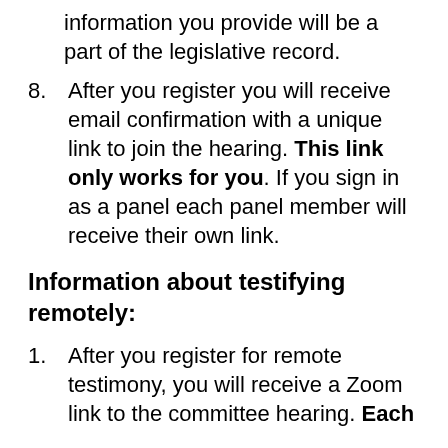information you provide will be a part of the legislative record.
8. After you register you will receive email confirmation with a unique link to join the hearing. This link only works for you. If you sign in as a panel each panel member will receive their own link.
Information about testifying remotely:
1. After you register for remote testimony, you will receive a Zoom link to the committee hearing. Each